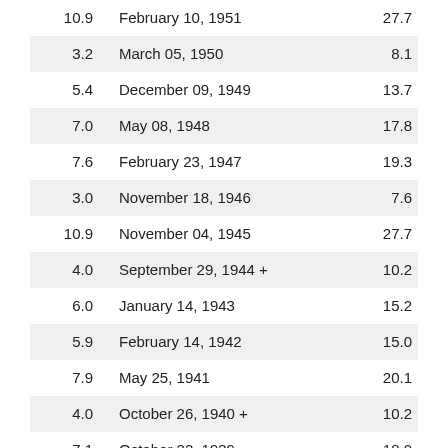| 10.9 | February 10, 1951 | 27.7 |
| 3.2 | March 05, 1950 | 8.1 |
| 5.4 | December 09, 1949 | 13.7 |
| 7.0 | May 08, 1948 | 17.8 |
| 7.6 | February 23, 1947 | 19.3 |
| 3.0 | November 18, 1946 | 7.6 |
| 10.9 | November 04, 1945 | 27.7 |
| 4.0 | September 29, 1944 + | 10.2 |
| 6.0 | January 14, 1943 | 15.2 |
| 5.9 | February 14, 1942 | 15.0 |
| 7.9 | May 25, 1941 | 20.1 |
| 4.0 | October 26, 1940 + | 10.2 |
| 7.1 | October 22, 1939 | 18.0 |
| 4.5 | November 10, 1938 + | 11.4 |
| 8.0 | March 19, 1937 | 20.3 |